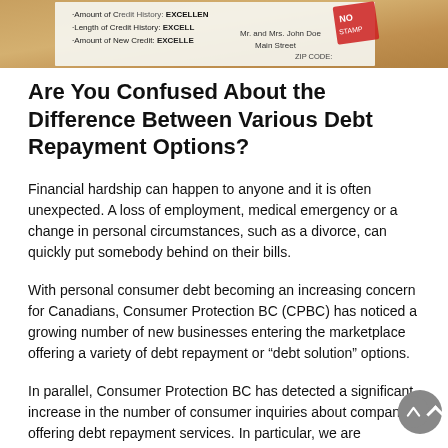[Figure (photo): Partial photo of a credit report or letter showing text fragments: 'Amount of Credit History: EXCELLE[NT]', 'Amount of New Credit:', addressed to 'Mr. and Mrs. John Doe' with a street address, with a red stamp/seal partially visible]
Are You Confused About the Difference Between Various Debt Repayment Options?
Financial hardship can happen to anyone and it is often unexpected. A loss of employment, medical emergency or a change in personal circumstances, such as a divorce, can quickly put somebody behind on their bills.
With personal consumer debt becoming an increasing concern for Canadians, Consumer Protection BC (CPBC) has noticed a growing number of new businesses entering the marketplace offering a variety of debt repayment or “debt solution” options.
In parallel, Consumer Protection BC has detected a significant increase in the number of consumer inquiries about companies offering debt repayment services. In particular, we are receiving consumer questions about